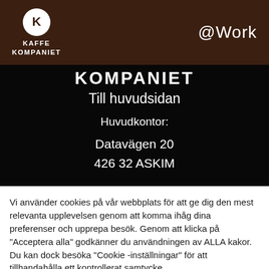KAFFE KOMPANIET @Work
[Figure (logo): Kaffekompaniet logo — white K in circle above text KAFFE KOMPANIET on dark brown background, with @Work text on right]
KOMPANIET
Till huvudsidan
Huvudkontor:
Datavägen 20
426 32 ASKIM
Vi använder cookies på vår webbplats för att ge dig den mest relevanta upplevelsen genom att komma ihåg dina preferenser och upprepa besök. Genom att klicka på "Acceptera alla" godkänner du användningen av ALLA kakor. Du kan dock besöka "Cookie -inställningar" för att tillhandahålla ett kontrollerat samtycke.
Cookie -inställningar
Acceptera alla